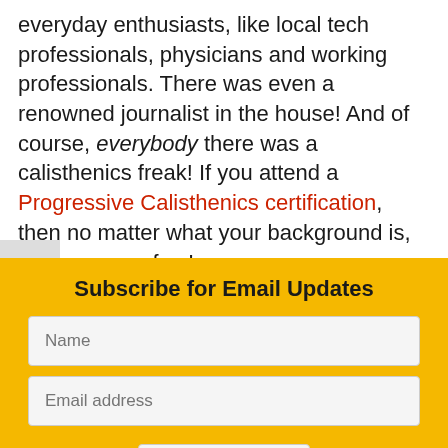everyday enthusiasts, like local tech professionals, physicians and working professionals. There was even a renowned journalist in the house! And of course, everybody there was a calisthenics freak! If you attend a Progressive Calisthenics certification, then no matter what your background is, you are one of us!
Subscribe for Email Updates
Name
Email address
SUBMIT